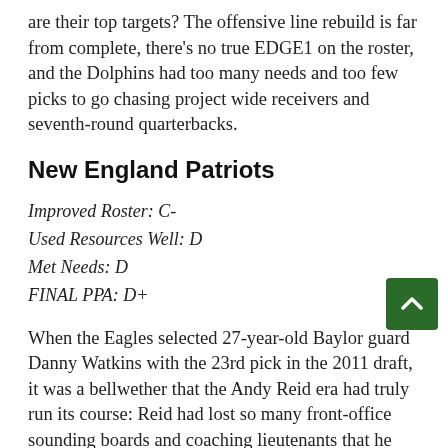are their top targets? The offensive line rebuild is far from complete, there's no true EDGE1 on the roster, and the Dolphins had too many needs and too few picks to go chasing project wide receivers and seventh-round quarterbacks.
New England Patriots
Improved Roster: C-
Used Resources Well: D
Met Needs: D
FINAL PPA: D+
When the Eagles selected 27-year-old Baylor guard Danny Watkins with the 23rd pick in the 2011 draft, it was a bellwether that the Andy Reid era had truly run its course: Reid had lost so many front-office sounding boards and coaching lieutenants that he was starting to make objectively bad decisions, a situation which was temporarily